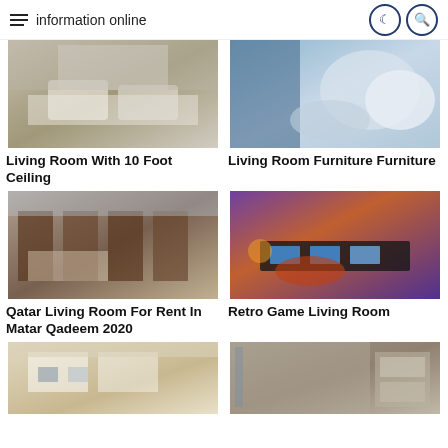information online
[Figure (photo): Living room interior with white furniture and high ceiling]
[Figure (photo): Close-up of blue and white bedroom/living room furniture cushions]
Living Room With 10 Foot Ceiling
Living Room Furniture Furniture
[Figure (photo): Qatar living room interior with wooden furniture for rent]
[Figure (photo): Retro game living room with multiple TVs and purple lighting]
Qatar Living Room For Rent In Matar Qadeem 2020
Retro Game Living Room
[Figure (photo): Partially visible living room image at bottom left]
[Figure (photo): Partially visible living room image at bottom right]